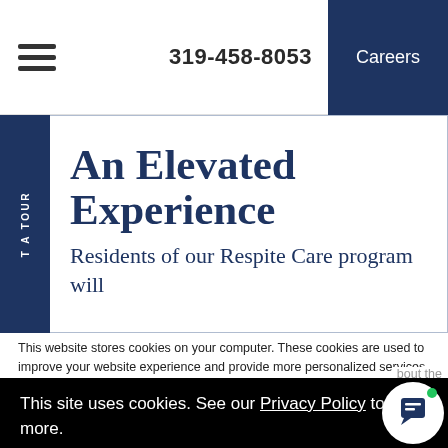319-458-8053  Careers
An Elevated Experience
Residents of our Respite Care program will
This website stores cookies on your computer. These cookies are used to improve your website experience and provide more personalized services to ... about the
This site uses cookies. See our Privacy Policy to learn more.
Okay, Got it